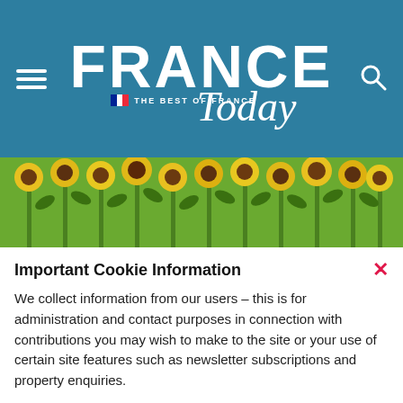FRANCE Today — THE BEST OF FRANCE
[Figure (photo): Field of sunflowers in France, yellow blooms with green stems against a sunlit sky]
Important Cookie Information
We collect information from our users – this is for administration and contact purposes in connection with contributions you may wish to make to the site or your use of certain site features such as newsletter subscriptions and property enquiries.
View cookie policy  Accept